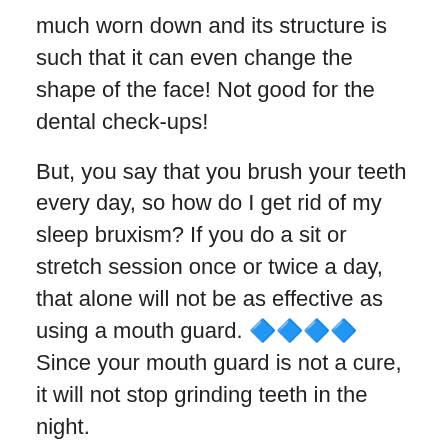much worn down and its structure is such that it can even change the shape of the face! Not good for the dental check-ups!
But, you say that you brush your teeth every day, so how do I get rid of my sleep bruxism? If you do a sit or stretch session once or twice a day, that alone will not be as effective as using a mouth guard. 🔷🔷🔷🔷 Since your mouth guard is not a cure, it will not stop grinding teeth in the night.
Bruxism happens to most people, but it seems to be getting more popular especially with movie stars. They usually go to a dentist and they come out with a cheap teeth guard that they can begin to use at home. But, this is where using a mouth guard on a regular basis will help stop the teeth grinding and clenching.
You see, by using a mouth guard, you are just protecting yourself from further damage. Even though a cheap OTC